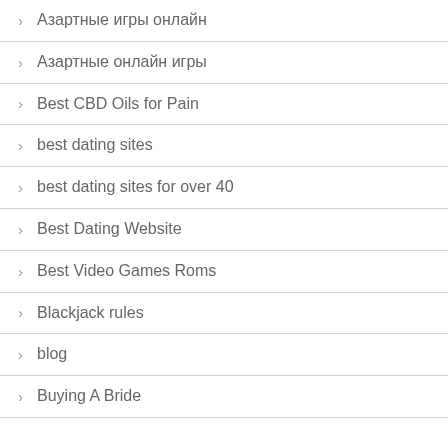Азартные игры онлайн
Азартные онлайн игры
Best CBD Oils for Pain
best dating sites
best dating sites for over 40
Best Dating Website
Best Video Games Roms
Blackjack rules
blog
Buying A Bride